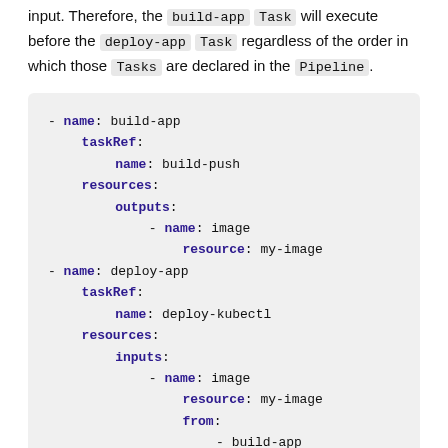input. Therefore, the build-app Task will execute before the deploy-app Task regardless of the order in which those Tasks are declared in the Pipeline.
- name: build-app
  taskRef:
    name: build-push
  resources:
    outputs:
      - name: image
        resource: my-image
- name: deploy-app
  taskRef:
    name: deploy-kubectl
  resources:
    inputs:
      - name: image
        resource: my-image
        from:
          - build-app